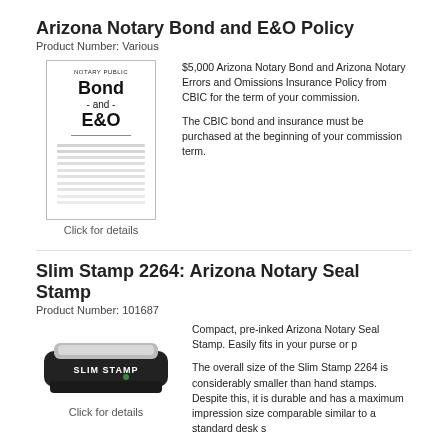Arizona Notary Bond and E&O Policy
Product Number: Various
[Figure (illustration): Notary Public Bond and E&O document cover image]
Click for details
$5,000 Arizona Notary Bond and Arizona Notary Errors and Omissions Insurance Policy from CBIC for the term of your commission.

The CBIC bond and insurance must be purchased at the beginning of your commission term.
Slim Stamp 2264: Arizona Notary Seal Stamp
Product Number: 101687
[Figure (photo): Slim Stamp 2264 Arizona Notary Seal Stamp - compact black pre-inked stamp]
Click for details
Compact, pre-inked Arizona Notary Seal Stamp. Easily fits in your purse or pocket.

The overall size of the Slim Stamp 2264 is considerably smaller than hand stamps. Despite this, it is durable and has a maximum impression size comparable similar to a standard desk s